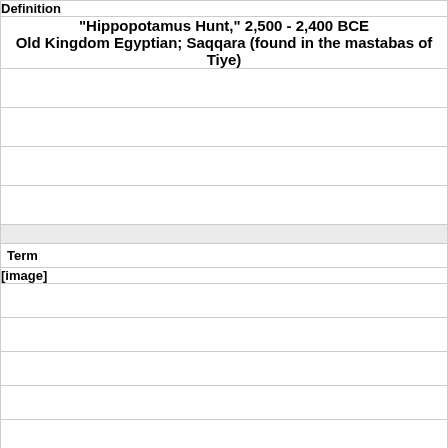Definition
"Hippopotamus Hunt," 2,500 - 2,400 BCE
Old Kingdom Egyptian; Saqqara (found in the mastabas of Tiye)
Term
[Figure (other): [image]]